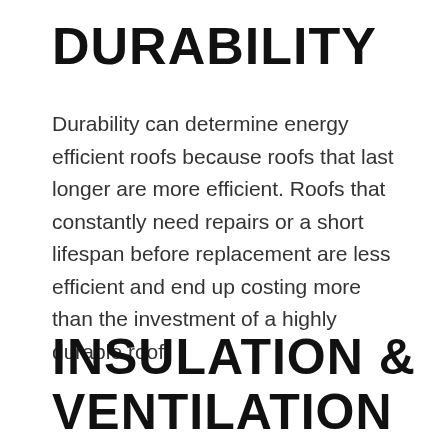DURABILITY
Durability can determine energy efficient roofs because roofs that last longer are more efficient. Roofs that constantly need repairs or a short lifespan before replacement are less efficient and end up costing more than the investment of a highly durable roof.
INSULATION & VENTILATION